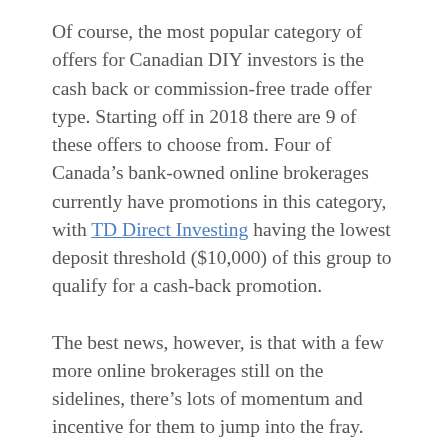Of course, the most popular category of offers for Canadian DIY investors is the cash back or commission-free trade offer type. Starting off in 2018 there are 9 of these offers to choose from. Four of Canada’s bank-owned online brokerages currently have promotions in this category, with TD Direct Investing having the lowest deposit threshold ($10,000) of this group to qualify for a cash-back promotion.
The best news, however, is that with a few more online brokerages still on the sidelines, there’s lots of momentum and incentive for them to jump into the fray. And, to ensure they get noticed, the deals will have to either stand out or match some of the more competitive offers currently out there.
As always, we’ll continue to monitor the deals activity, however if you find out about an offer that would be of